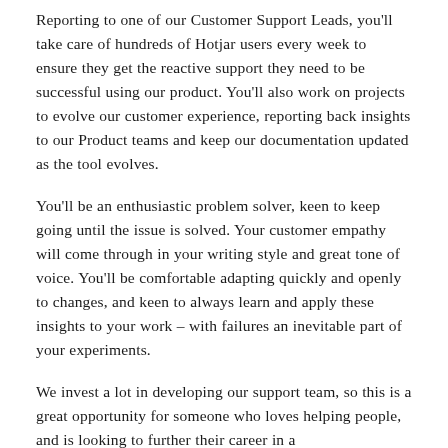Reporting to one of our Customer Support Leads, you'll take care of hundreds of Hotjar users every week to ensure they get the reactive support they need to be successful using our product. You'll also work on projects to evolve our customer experience, reporting back insights to our Product teams and keep our documentation updated as the tool evolves.
You'll be an enthusiastic problem solver, keen to keep going until the issue is solved. Your customer empathy will come through in your writing style and great tone of voice. You'll be comfortable adapting quickly and openly to changes, and keen to always learn and apply these insights to your work – with failures an inevitable part of your experiments.
We invest a lot in developing our support team, so this is a great opportunity for someone who loves helping people, and is looking to further their career in a